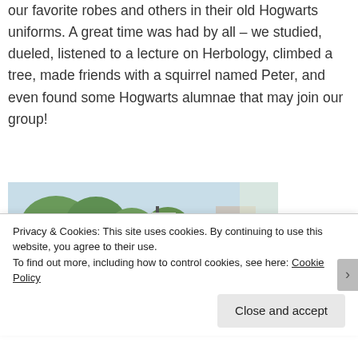our favorite robes and others in their old Hogwarts uniforms. A great time was had by all – we studied, dueled, listened to a lecture on Herbology, climbed a tree, made friends with a squirrel named Peter, and even found some Hogwarts alumnae that may join our group!
[Figure (photo): Outdoor scene near a train station or urban area; blue kiosk or information stand visible, trees in background, person visible in foreground, bright sunlight, buildings in background.]
Privacy & Cookies: This site uses cookies. By continuing to use this website, you agree to their use.
To find out more, including how to control cookies, see here: Cookie Policy